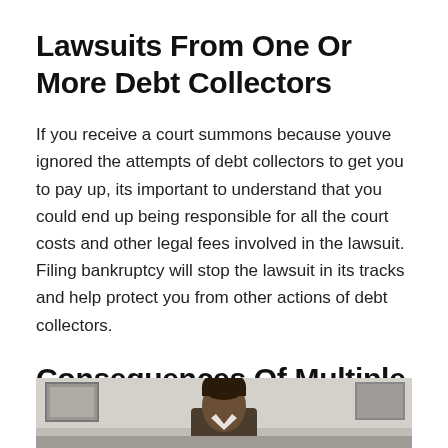Lawsuits From One Or More Debt Collectors
If you receive a court summons because youve ignored the attempts of debt collectors to get you to pay up, its important to understand that you could end up being responsible for all the court costs and other legal fees involved in the lawsuit. Filing bankruptcy will stop the lawsuit in its tracks and help protect you from other actions of debt collectors.
Consequences Of Multiple Bankruptcies
[Figure (photo): Photo of a person, partially visible at the bottom of the page, appearing to be in an office or professional setting]